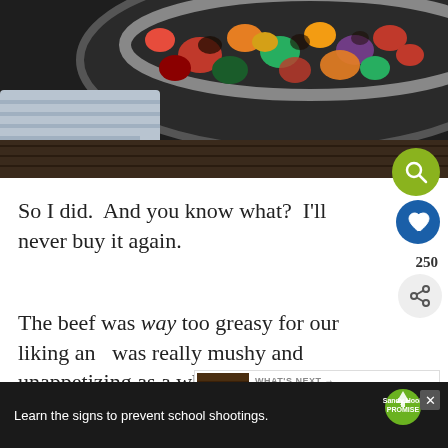[Figure (photo): A dark skillet or wok filled with roasted colorful vegetables and meat pieces — sausage, peppers, onions, carrots — on a dark wooden surface with a light cloth napkin]
So I did.  And you know what?  I'll never buy it again.
The beef was way too greasy for our liking and was really mushy and unappetizing as a whole.  He admitted I was right.  Woot woot.
knows that she's talking about in the kitchen.
Learn the signs to prevent school shootings.